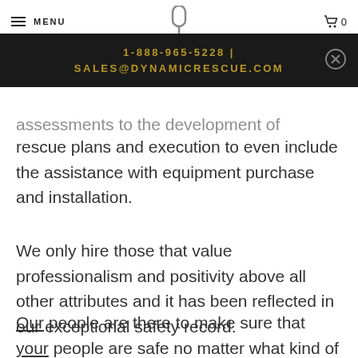MENU | [logo] | 0
1-888-965-5228 | SALES@DYNAMICRESCUE.COM
assessments to the development of rescue plans and execution to even include the assistance with equipment purchase and installation.
We only hire those that value professionalism and positivity above all other attributes and it has been reflected in our exceptional safety record.
Our people are there to make sure that your people are safe no matter what kind of risk their environment creates.